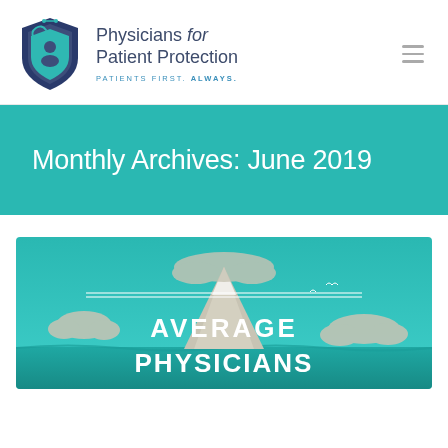[Figure (logo): Physicians for Patient Protection shield logo with stethoscope icon]
Physicians for Patient Protection
PATIENTS FIRST. ALWAYS.
Monthly Archives: June 2019
[Figure (infographic): Infographic with teal ocean/mountain background showing clouds and text 'AVERAGE PHYSICIANS']